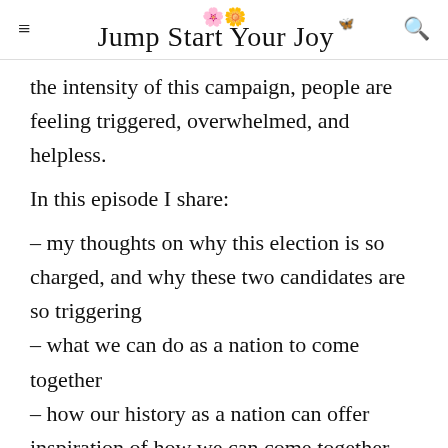Jump Start Your Joy
the intensity of this campaign, people are feeling triggered, overwhelmed, and helpless.
In this episode I share:
– my thoughts on why this election is so charged, and why these two candidates are so triggering
– what we can do as a nation to come together
– how our history as a nation can offer inspiration of how we can come together during hard times
– eleven ideas on how you find calm, including